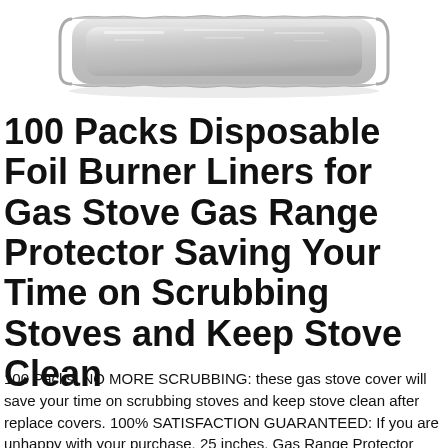[Figure (photo): A rectangular disposable aluminum foil burner liner/tray viewed from above, showing a shiny silver metallic surface with crimped/folded edges, on a white background.]
100 Packs Disposable Foil Burner Liners for Gas Stove Gas Range Protector Saving Your Time on Scrubbing Stoves and Keep Stove Clean
100 Packs, NO MORE SCRUBBING: these gas stove cover will save your time on scrubbing stoves and keep stove clean after replace covers. 100% SATISFACTION GUARANTEED: If you are unhappy with your purchase, 25 inches, Gas Range Protector Saving Your Time on Scrubbing Stoves and Keep Stove Clean, Kitchen & Dining, Help & NO MORE SCRUBBING: th